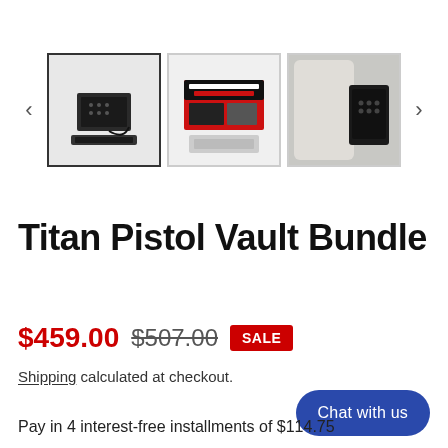[Figure (photo): Product image gallery showing three thumbnail images of the Titan Pistol Vault Bundle: first thumbnail (selected/highlighted) shows the vault components laid out, second shows the product box packaging labeled TITAN PISTOL VAULT, third shows the vault mounted/placed in a vehicle seat area. Navigation arrows on left and right sides.]
Titan Pistol Vault Bundle
$459.00 $507.00 SALE
Shipping calculated at checkout.
Chat with us
Pay in 4 interest-free installments of $114.75